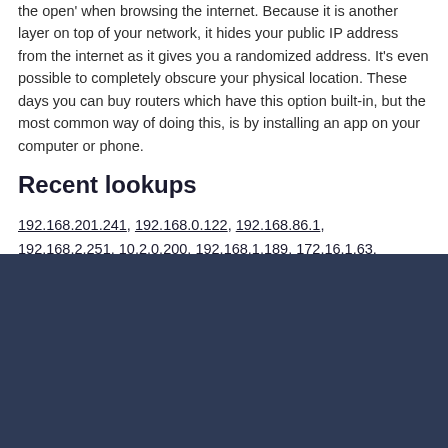the open' when browsing the internet. Because it is another layer on top of your network, it hides your public IP address from the internet as it gives you a randomized address. It's even possible to completely obscure your physical location. These days you can buy routers which have this option built-in, but the most common way of doing this, is by installing an app on your computer or phone.
Recent lookups
192.168.201.241, 192.168.0.122, 192.168.86.1, 192.168.2.251, 10.2.0.200, 192.168.1.189, 172.16.1.63.